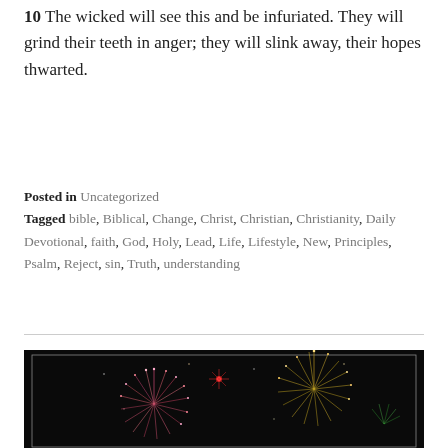10 The wicked will see this and be infuriated. They will grind their teeth in anger; they will slink away, their hopes thwarted.
Posted in Uncategorized
Tagged bible, Biblical, Change, Christ, Christian, Christianity, Daily Devotional, faith, God, Holy, Lead, Life, Lifestyle, New, Principles, Psalm, Reject, sin, Truth, understanding
[Figure (photo): Fireworks display against a dark night sky, with colorful pink and gold explosions. Image has a black background with an inner white border frame.]